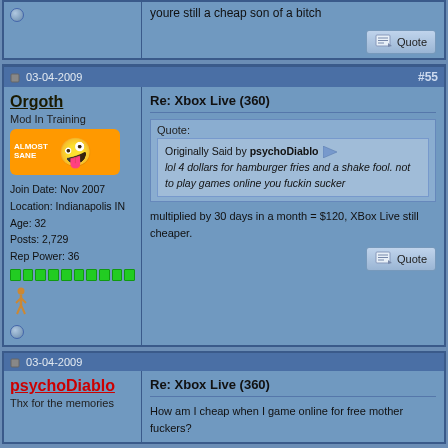youre still a cheap son of a bitch
03-04-2009  #55
Orgoth
Mod In Training
Join Date: Nov 2007
Location: Indianapolis IN
Age: 32
Posts: 2,729
Rep Power: 36
Re: Xbox Live (360)
Quote:
Originally Said by psychoDiablo
lol 4 dollars for hamburger fries and a shake fool. not to play games online you fuckin sucker
multiplied by 30 days in a month = $120, XBox Live still cheaper.
03-04-2009
psychoDiablo
Thx for the memories
Re: Xbox Live (360)
How am I cheap when I game online for free mother fuckers?